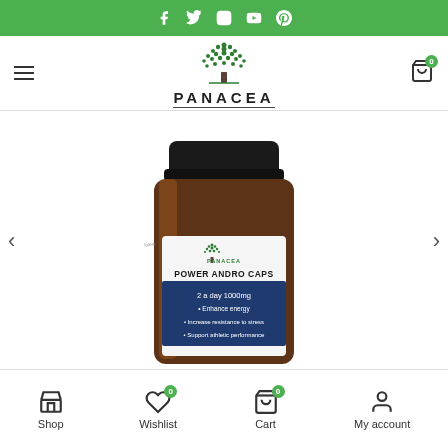Social media icons bar (Facebook, Twitter, Instagram, YouTube, Pinterest)
[Figure (logo): Panacea brand logo with tree icon and text PANACEA]
[Figure (photo): Panacea Power Andro Caps supplement bottle, dark amber glass jar with dark lid, label reads: POWER ANDRO CAPS, 2 a day 1000mg, Enhance energy, Increase resistance to stress, Support athletic performance]
Shop | Wishlist | Cart | My account